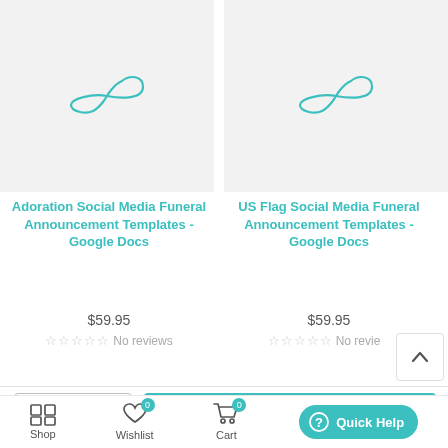[Figure (illustration): Product placeholder image with teal infinity/script logo icon on light gray background - Adoration Social Media Funeral Announcement Templates]
[Figure (illustration): Product placeholder image with teal infinity/script logo icon on light gray background - US Flag Social Media Funeral Announcement Templates]
Adoration Social Media Funeral Announcement Templates - Google Docs
US Flag Social Media Funeral Announcement Templates - Google Docs
$59.95
$59.95
No reviews
No revie...
- 1 +
ADD TO CART
Shop
Wishlist
Cart
Quick Help